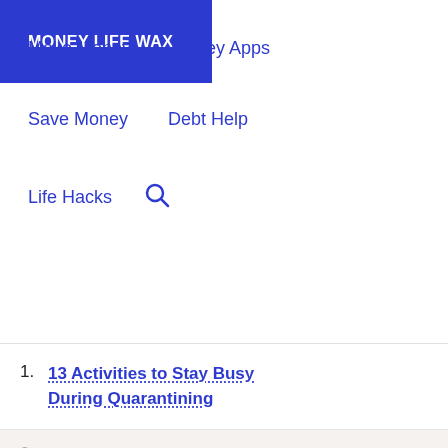MONEY LIFE WAX
Make Money
Money Apps
Save Money
Debt Help
Life Hacks
1. 13 Activities to Stay Busy During Quarantining
2. 12 Ways to Make Money During Coronavirus